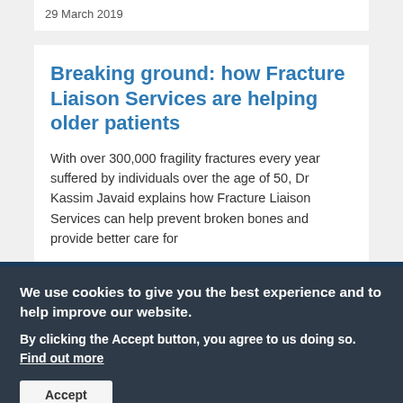29 March 2019
Breaking ground: how Fracture Liaison Services are helping older patients
With over 300,000 fragility fractures every year suffered by individuals over the age of 50, Dr Kassim Javaid explains how Fracture Liaison Services can help prevent broken bones and provide better care for
We use cookies to give you the best experience and to help improve our website.
By clicking the Accept button, you agree to us doing so. Find out more